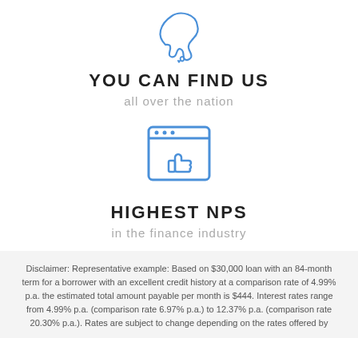[Figure (illustration): Blue outline icon of Australia map with a small heart at the bottom]
YOU CAN FIND US
all over the nation
[Figure (illustration): Blue outline icon of a browser window with thumbs up inside]
HIGHEST NPS
in the finance industry
Disclaimer: Representative example: Based on $30,000 loan with an 84-month term for a borrower with an excellent credit history at a comparison rate of 4.99% p.a. the estimated total amount payable per month is $444. Interest rates range from 4.99% p.a. (comparison rate 6.97% p.a.) to 12.37% p.a. (comparison rate 20.30% p.a.). Rates are subject to change depending on the rates offered by